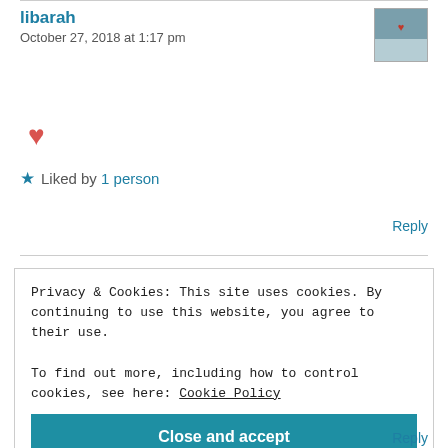libarah
October 27, 2018 at 1:17 pm
[Figure (photo): Avatar thumbnail image of user libarah showing a heart graphic]
❤
★ Liked by 1 person
Reply
Privacy & Cookies: This site uses cookies. By continuing to use this website, you agree to their use.
To find out more, including how to control cookies, see here: Cookie Policy
Close and accept
Reply